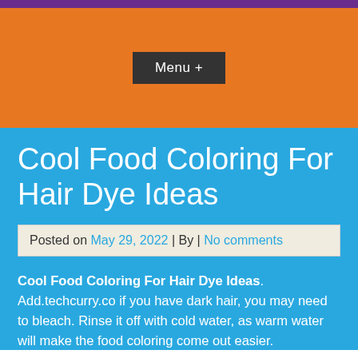Menu +
Cool Food Coloring For Hair Dye Ideas
Posted on May 29, 2022 | By | No comments
Cool Food Coloring For Hair Dye Ideas. Add.techcurry.co if you have dark hair, you may need to bleach. Rinse it off with cold water, as warm water will make the food coloring come out easier.
[Figure (photo): Photo of a person's hair dyed with food coloring, showing pinkish/reddish tones against dark hair]